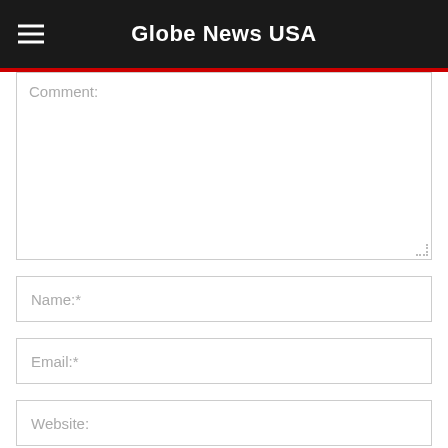Globe News USA
Comment:
Name:*
Email:*
Website:
Save my name, email, and website in this browser for the next time I comment.